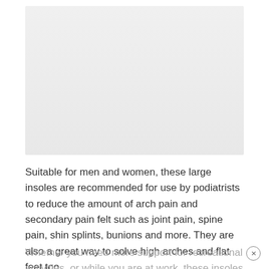[Figure (photo): Large light grey image placeholder area for product photo of insoles]
Suitable for men and women, these large insoles are recommended for use by podiatrists to reduce the amount of arch pain and secondary pain felt such as joint pain, spine pain, shin splints, bunions and more. They are also a great way to solve high arches and flat feet too.
Whether you need more support for recreational activities, or while you are at work, these insoles can provide you